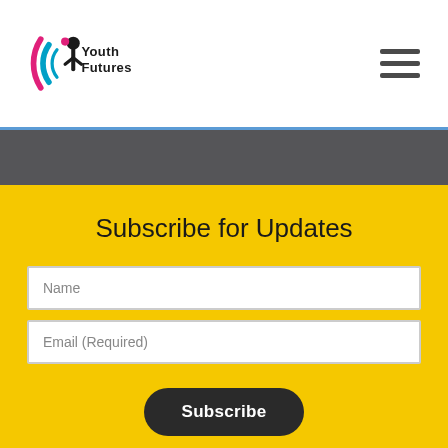Youth Futures
Subscribe for Updates
Name
Email (Required)
Subscribe